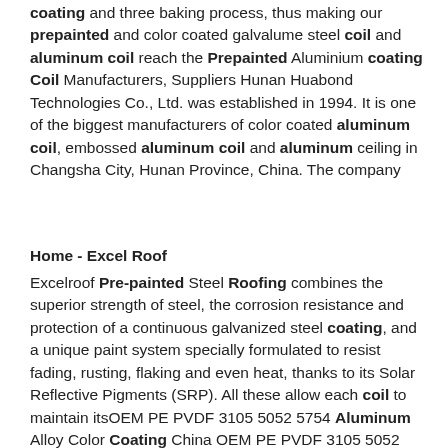coating and three baking process, thus making our prepainted and color coated galvalume steel coil and aluminum coil reach the Prepainted Aluminium coating Coil Manufacturers, Suppliers Hunan Huabond Technologies Co., Ltd. was established in 1994. It is one of the biggest manufacturers of color coated aluminum coil, embossed aluminum coil and aluminum ceiling in Changsha City, Hunan Province, China. The company
Home - Excel Roof
Excelroof Pre-painted Steel Roofing combines the superior strength of steel, the corrosion resistance and protection of a continuous galvanized steel coating, and a unique paint system specially formulated to resist fading, rusting, flaking and even heat, thanks to its Solar Reflective Pigments (SRP). All these allow each coil to maintain itsOEM PE PVDF 3105 5052 5754 Aluminum Alloy Color Coating China OEM PE PVDF 3105 5052 5754 Aluminum Alloy Color Coating Prepainted Aluminium Coil for Building Material, Find details about China Prepainted Aluminum Coils for Roofing, Colour Aluminum Coils for Decoration from OEM PE PVDF 3105 5052 5754 Aluminum Alloy Color Coating Prepainted Aluminium Coil for Building Material - Shandong Hongzhan Pre-painted aluminum roofing Aluminum roofing